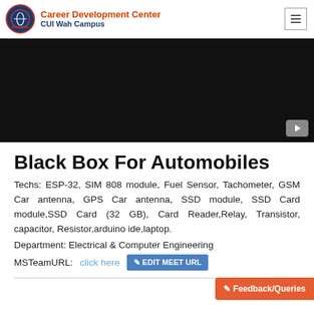Career Development Center CUI Wah Campus
[Figure (screenshot): Black video player thumbnail area with YouTube play button in bottom right]
Black Box For Automobiles
Techs: ESP-32, SIM 808 module, Fuel Sensor, Tachometer, GSM Car antenna, GPS Car antenna, SSD module, SSD Card module,SSD Card (32 GB), Card Reader,Relay, Transistor, capacitor, Resistor,arduino ide,laptop.
Department: Electrical & Computer Engineering
MSTeamURL: click here